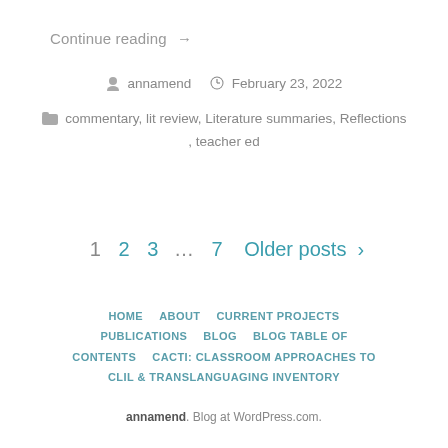Continue reading →
annamend  February 23, 2022
commentary, lit review, Literature summaries, Reflections, teacher ed
1  2  3  …  7  Older posts ›
HOME  ABOUT  CURRENT PROJECTS  PUBLICATIONS  BLOG  BLOG TABLE OF CONTENTS  CACTI: CLASSROOM APPROACHES TO CLIL & TRANSLANGUAGING INVENTORY
annamend. Blog at WordPress.com.